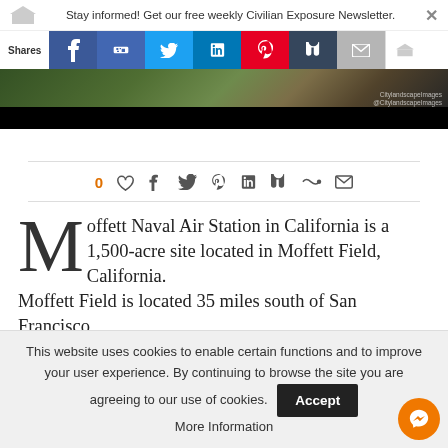Stay informed! Get our free weekly Civilian Exposure Newsletter.
[Figure (screenshot): Social media share bar with Facebook, Like, Twitter, LinkedIn, Pinterest, Tumblr, Email, and crown/bookmark buttons showing share counts]
[Figure (photo): Aerial photograph of Moffett Naval Air Station / Moffett Field California, partially visible at top]
[Figure (infographic): Social sharing icons row: heart (0), Facebook, Twitter, Pinterest, LinkedIn, Tumblr, StumbleUpon, Email]
Moffett Naval Air Station in California is a 1,500-acre site located in Moffett Field, California. Moffett Field is located 35 miles south of San Francisco
This website uses cookies to enable certain functions and to improve your user experience. By continuing to browse the site you are agreeing to our use of cookies. Accept More Information